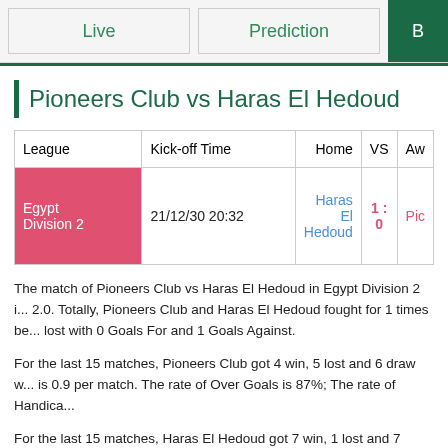Live | Prediction | B
Pioneers Club vs Haras El Hedoud
| League | Kick-off Time |  | Home | VS | Aw |
| --- | --- | --- | --- | --- | --- |
| Egypt Division 2 | 21/12/30 20:32 |  | Haras El Hedoud | 1 : 0 | Pic |
The match of Pioneers Club vs Haras El Hedoud in Egypt Division 2 i... 2.0. Totally, Pioneers Club and Haras El Hedoud fought for 1 times be... lost with 0 Goals For and 1 Goals Against.
For the last 15 matches, Pioneers Club got 4 win, 5 lost and 6 draw w... is 0.9 per match. The rate of Over Goals is 87%; The rate of Handica...
For the last 15 matches, Haras El Hedoud got 7 win, 1 lost and 7 dra... is 0.5 per match. The rate of Over Goals is 87%; The rate of Handic...